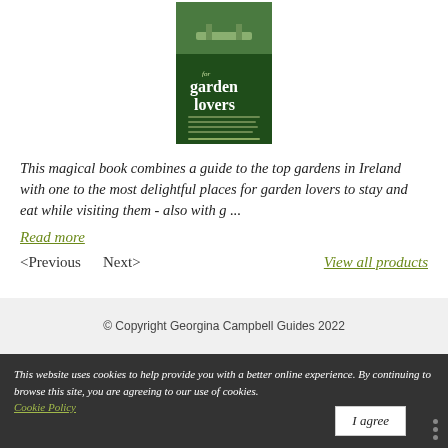[Figure (illustration): Book cover for 'for garden lovers' guide, dark green cover with garden bench image and author names.]
This magical book combines a guide to the top gardens in Ireland with one to the most delightful places for garden lovers to stay and eat while visiting them - also with g ...
Read more
<Previous   Next>   View all products
© Copyright Georgina Campbell Guides 2022
This website uses cookies to help provide you with a better online experience. By continuing to browse this site, you are agreeing to our use of cookies. Cookie Policy